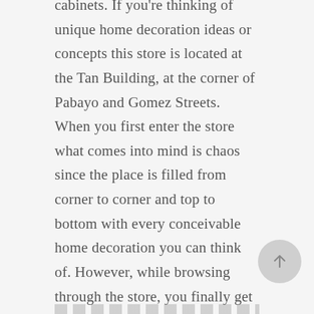cabinets. If you're thinking of unique home decoration ideas or concepts this store is located at the Tan Building, at the corner of Pabayo and Gomez Streets. When you first enter the store what comes into mind is chaos since the place is filled from corner to corner and top to bottom with every conceivable home decoration you can think of. However, while browsing through the store, you finally get the picture that everything is “chaotically arranged” to resemble what a home would look like if fully decorated. You could spend hours looking through everything and still have a hard time deciding what to buy.